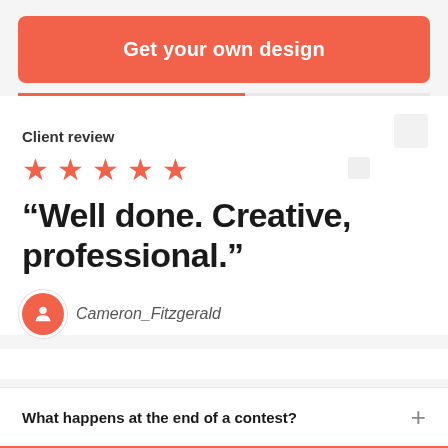Get your own design
Client review
[Figure (infographic): Five red star rating icons displayed in a row]
“Well done. Creative, professional.”
Cameron_Fitzgerald
What happens at the end of a contest?